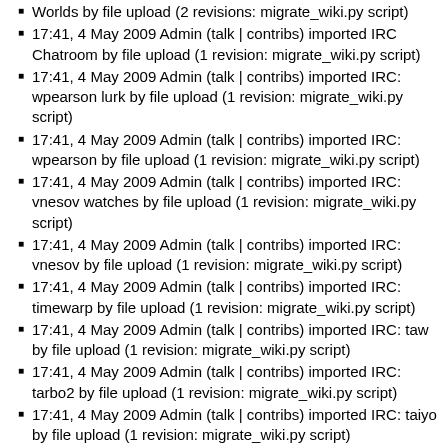Worlds by file upload (2 revisions: migrate_wiki.py script)
17:41, 4 May 2009 Admin (talk | contribs) imported IRC Chatroom by file upload (1 revision: migrate_wiki.py script)
17:41, 4 May 2009 Admin (talk | contribs) imported IRC: wpearson lurk by file upload (1 revision: migrate_wiki.py script)
17:41, 4 May 2009 Admin (talk | contribs) imported IRC: wpearson by file upload (1 revision: migrate_wiki.py script)
17:41, 4 May 2009 Admin (talk | contribs) imported IRC: vnesov watches by file upload (1 revision: migrate_wiki.py script)
17:41, 4 May 2009 Admin (talk | contribs) imported IRC: vnesov by file upload (1 revision: migrate_wiki.py script)
17:41, 4 May 2009 Admin (talk | contribs) imported IRC: timewarp by file upload (1 revision: migrate_wiki.py script)
17:41, 4 May 2009 Admin (talk | contribs) imported IRC: taw by file upload (1 revision: migrate_wiki.py script)
17:41, 4 May 2009 Admin (talk | contribs) imported IRC: tarbo2 by file upload (1 revision: migrate_wiki.py script)
17:41, 4 May 2009 Admin (talk | contribs) imported IRC: taiyo by file upload (1 revision: migrate_wiki.py script)
17:41, 4 May 2009 Admin (talk | contribs) imported IRC: stillflame by file upload (1 revision: migrate_wiki.py script)
17:41, 4 May 2009 Admin (talk | contribs) imported IRC: steven0461 by file upload (1 revision: migrate_wiki.py script)